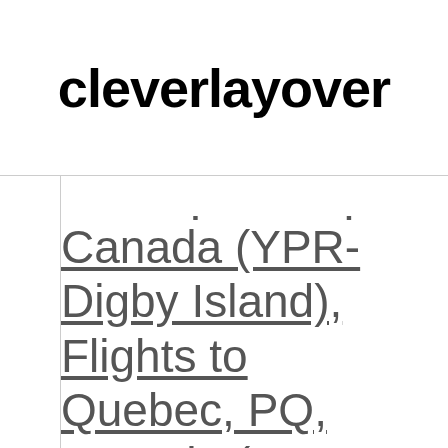cleverlayover
Canada (YPR-Digby Island), Flights to Quebec, PQ, Canada (YQB-Quebec)